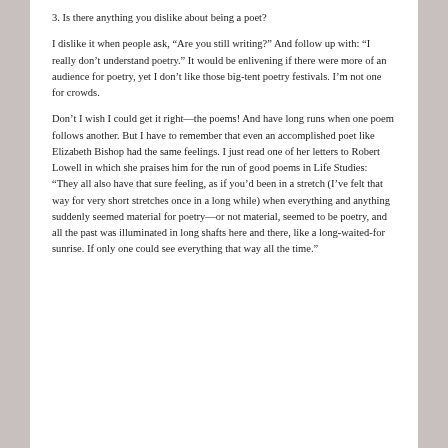3. Is there anything you dislike about being a poet?
I dislike it when people ask, “Are you still writing?” And follow up with: “I really don’t understand poetry.” It would be enlivening if there were more of an audience for poetry, yet I don’t like those big-tent poetry festivals. I’m not one for crowds.
Don’t I wish I could get it right—the poems! And have long runs when one poem follows another. But I have to remember that even an accomplished poet like Elizabeth Bishop had the same feelings. I just read one of her letters to Robert Lowell in which she praises him for the run of good poems in Life Studies: “They all also have that sure feeling, as if you’d been in a stretch (I’ve felt that way for very short stretches once in a long while) when everything and anything suddenly seemed material for poetry—or not material, seemed to be poetry, and all the past was illuminated in long shafts here and there, like a long-waited-for sunrise. If only one could see everything that way all the time.”